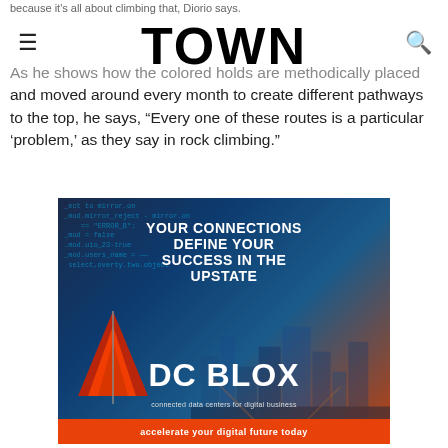TOWN
because it's all about climbing that, Diorio says. As he shows how the colored holds are methodically placed and moved around every month to create different pathways to the top, he says, "Every one of these routes is a particular 'problem,' as they say in rock climbing."
[Figure (advertisement): DC BLOX advertisement. Text reads: YOUR CONNECTIONS DEFINE YOUR SUCCESS IN THE UPSTATE DC BLOX connected data centers for digital business accelerate your digital future today. Background shows code overlay and city skyline with a red sail graphic.]